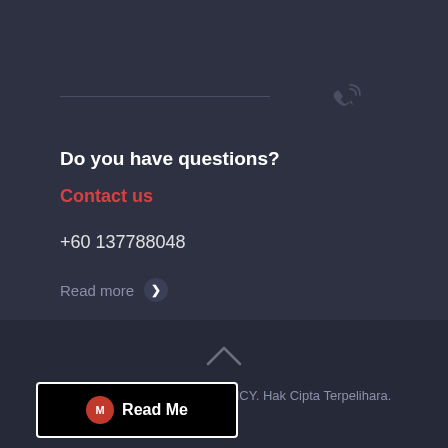[Figure (illustration): Phone/call icon in dark gray circle area top right]
Do you have questions?
Contact us
+60 137788048
Read more
[Figure (illustration): Upward chevron arrow icon]
IAM TRAINING & CONSULTANCY. Hak Cipta Terpelihara.
[Figure (logo): Read Me button with circular M logo icon]